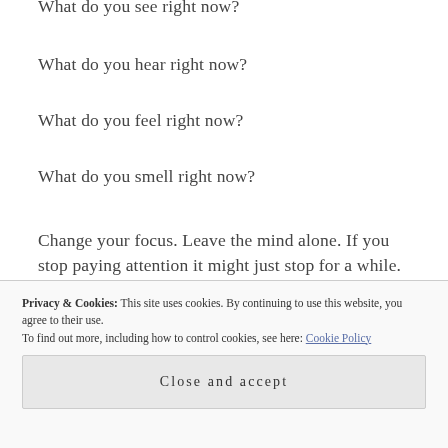What do you see right now?
What do you hear right now?
What do you feel right now?
What do you smell right now?
Change your focus. Leave the mind alone. If you stop paying attention it might just stop for a while. Become quieter. Don`t bother believing its fearful stories. They are not going to help, they are a waste of time,
Privacy & Cookies: This site uses cookies. By continuing to use this website, you agree to their use. To find out more, including how to control cookies, see here: Cookie Policy
Close and accept